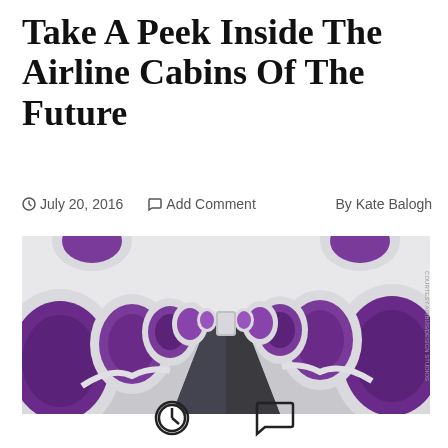Take A Peek Inside The Airline Cabins Of The Future
July 20, 2016   Add Comment   By Kate Balogh
[Figure (photo): Interior view of a futuristic airline cabin concept featuring pod-style seats with white exterior shells and purple cushioned interiors, arranged symmetrically along both sides of a narrow aisle, with a perspective view looking down the length of the cabin.]
[Figure (other): Two icon symbols at the bottom of the page: a clock/time icon and a speech bubble/comment icon]